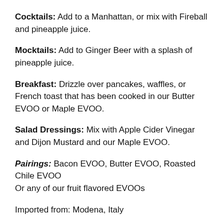Cocktails: Add to a Manhattan, or mix with Fireball and pineapple juice.
Mocktails: Add to Ginger Beer with a splash of pineapple juice.
Breakfast: Drizzle over pancakes, waffles, or French toast that has been cooked in our Butter EVOO or Maple EVOO.
Salad Dressings: Mix with Apple Cider Vinegar and Dijon Mustard and our Maple EVOO.
Pairings: Bacon EVOO, Butter EVOO, Roasted Chile EVOO Or any of our fruit flavored EVOOs
Imported from: Modena, Italy